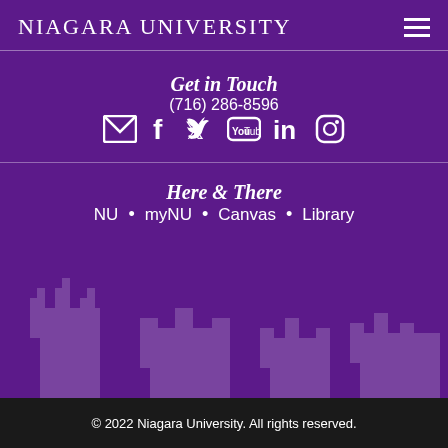Niagara University
Get in Touch
(716) 286-8596
[Figure (infographic): Row of social media icons: email/envelope, Facebook, Twitter, YouTube, LinkedIn, Instagram]
Here & There
NU • myNU • Canvas • Library
© 2022 Niagara University. All rights reserved.